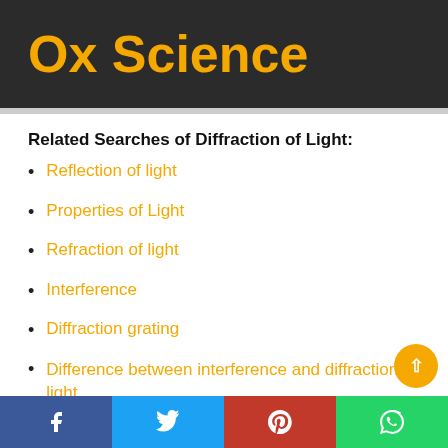Ox Science
Related Searches of Diffraction of Light:
Reflection of light
Properties of Light
Refraction of light
Interference
Diffraction grating
Difference between interference and diffraction of light
Related Searches In Physics are: